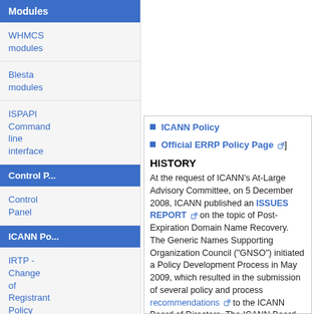Modules
WHMCS modules
Blesta modules
ISPAPI Command line interface
Control P...
Control Panel
ICANN Po...
IRTP - Change of Registrant Policy
ERRP
ICANN Policy
Official ERRP Policy Page
HISTORY
At the request of ICANN's At-Large Advisory Committee, on 5 December 2008, ICANN published an ISSUES REPORT on the topic of Post-Expiration Domain Name Recovery. The Generic Names Supporting Organization Council ("GNSO") initiated a Policy Development Process in May 2009, which resulted in the submission of several policy and process recommendations to the ICANN Board of Directors. The ICANN Board adopted the policy recommendations on 28 October 2011, and directed ICANN staff to implement this policy.
A period for public comment on the Expired Registration Recovery Policy opened on 11 October 2012 and closed on 18 November 2012. The period for reply opened on 19 November 2012 and closed on 7 December 2012. ICANN has reviewed the comments submitted, and where appropriate, incorporated suggested modifications into the